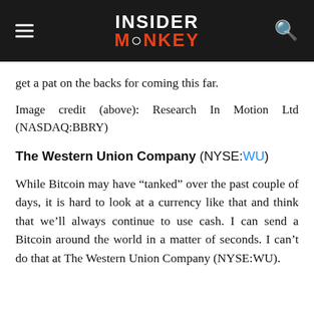INSIDER MONKEY
get a pat on the backs for coming this far.
Image credit (above): Research In Motion Ltd (NASDAQ:BBRY)
The Western Union Company (NYSE:WU)
While Bitcoin may have “tanked” over the past couple of days, it is hard to look at a currency like that and think that we’ll always continue to use cash. I can send a Bitcoin around the world in a matter of seconds. I can’t do that at The Western Union Company (NYSE:WU).